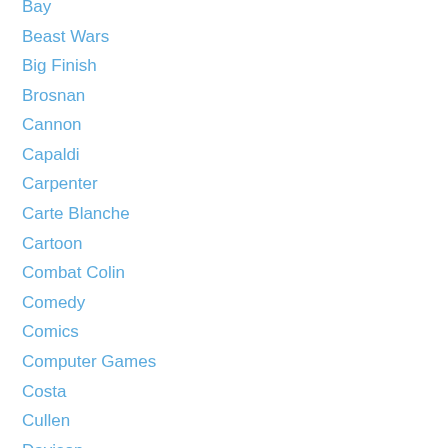Bay
Beast Wars
Big Finish
Brosnan
Cannon
Capaldi
Carpenter
Carte Blanche
Cartoon
Combat Colin
Comedy
Comics
Computer Games
Costa
Cullen
Davison
Death
Discworld
Doctor Who
Dragon's Claws
Dreamwave